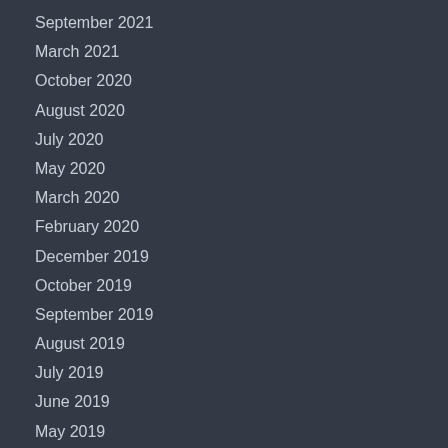September 2021
March 2021
October 2020
August 2020
July 2020
May 2020
March 2020
February 2020
December 2019
October 2019
September 2019
August 2019
July 2019
June 2019
May 2019
April 2019
March 2019